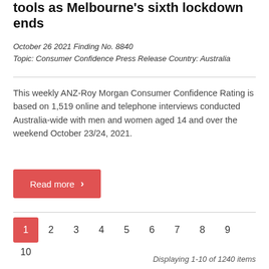tools as Melbourne's sixth lockdown ends
October 26 2021 Finding No. 8840
Topic: Consumer Confidence Press Release Country: Australia
This weekly ANZ-Roy Morgan Consumer Confidence Rating is based on 1,519 online and telephone interviews conducted Australia-wide with men and women aged 14 and over the weekend October 23/24, 2021.
Read more
1 2 3 4 5 6 7 8 9 10
Displaying 1-10 of 1240 items